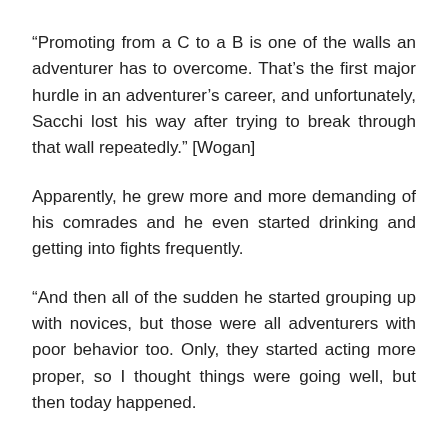“Promoting from a C to a B is one of the walls an adventurer has to overcome. That’s the first major hurdle in an adventurer’s career, and unfortunately, Sacchi lost his way after trying to break through that wall repeatedly.” [Wogan]
Apparently, he grew more and more demanding of his comrades and he even started drinking and getting into fights frequently.
“And then all of the sudden he started grouping up with novices, but those were all adventurers with poor behavior too. Only, they started acting more proper, so I thought things were going well, but then today happened.